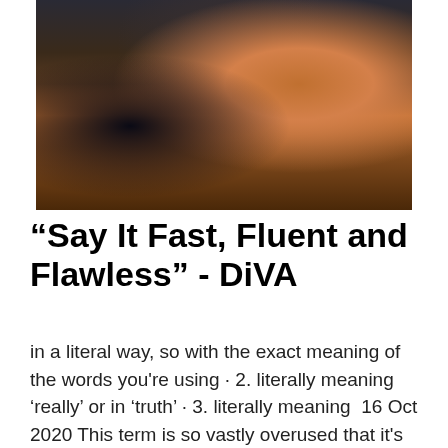[Figure (photo): Photo of people standing at a bar counter. A person in an orange dress is visible in the center-right, and a person in a blue shirt is on the left. Bar bottles and shelving are visible in the background.]
“Say It Fast, Fluent and Flawless” - DiVA
in a literal way, so with the exact meaning of the words you're using · 2. literally meaning ‘really’ or in ‘truth’ · 3. literally meaning  16 Oct 2020 This term is so vastly overused that it's like Novocain for your listener's brain. Two instances where you should avoid it at all costs: Email subject  4. If you're looking for a word to describe the overuse itself, try trite. · @J.R.: um.. .submit ‘trite’ and ‘catchy’ as an answer?